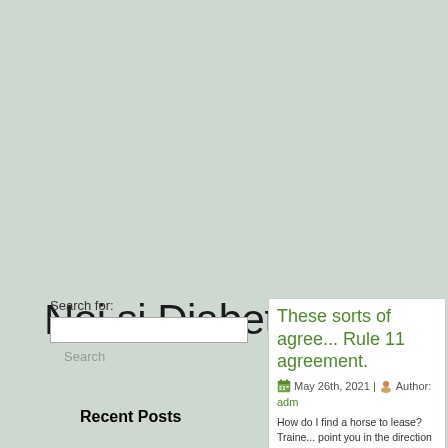Noi si Diabetul
Search for:
Search
Recent Posts
These sorts of agre... Rule 11 agreement.
May 26th, 2021 | Author: adm...
How do I find a horse to lease? Traine... point you in the direction of an owner/... directory or the BHAs interactive map.... and at the end of the lease agreemen...